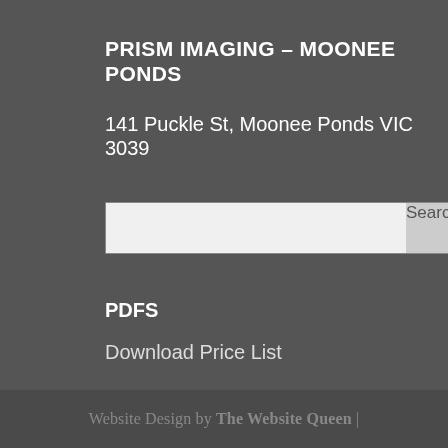PRISM IMAGING – MOONEE PONDS
141 Puckle St, Moonee Ponds VIC 3039
[Figure (other): Search input box with a text field and a Search button]
PDFS
Download Price List
Download Framing Brochure
Website Design by The Website Queen |